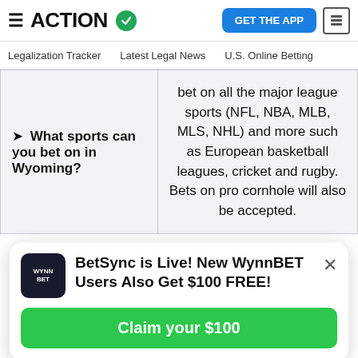ACTION (logo with checkmark)
GET THE APP
Legalization Tracker | Latest Legal News | U.S. Online Betting
| Question | Answer |
| --- | --- |
| ❯ What sports can you bet on in Wyoming? | bet on all the major league sports (NFL, NBA, MLB, MLS, NHL) and more such as European basketball leagues, cricket and rugby. Bets on pro cornhole will also be accepted. |
[Figure (infographic): WynnBET promotional popup: BetSync is Live! New WynnBET Users Also Get $100 FREE! with Claim your $100 green button]
player prop, and they're entered in to win cash prizes.